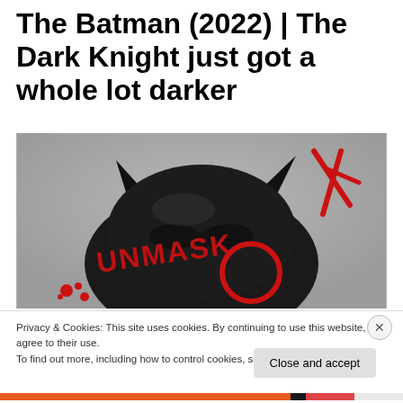The Batman (2022) | The Dark Knight just got a whole lot darker
[Figure (photo): Close-up of the Batman cowl/mask from The Batman (2022) in black, with red graffiti text reading 'UNMASK' written across it, and additional red markings on the right side. The background is grey/neutral.]
Privacy & Cookies: This site uses cookies. By continuing to use this website, you agree to their use.
To find out more, including how to control cookies, see here: Cookie Policy
Close and accept